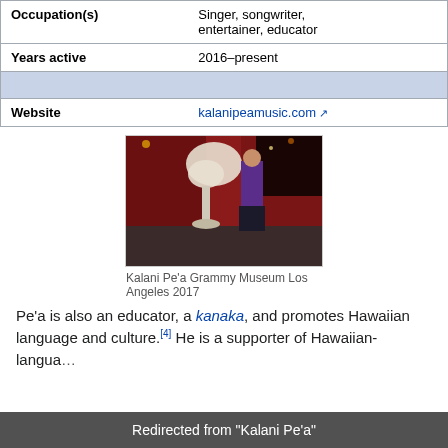| Field | Value |
| --- | --- |
| Occupation(s) | Singer, songwriter, entertainer, educator |
|  |  |
| Years active | 2016–present |
|  |  |
| Website | kalanipeamusic.com ↗ |
[Figure (photo): Person standing next to a large white Grammy award sculpture at the Grammy Museum Los Angeles 2017]
Kalani Pe'a Grammy Museum Los Angeles 2017
Pe'a is also an educator, a kanaka, and promotes Hawaiian language and culture.[4] He is a supporter of Hawaiian-langua...
Redirected from "Kalani Pe'a"